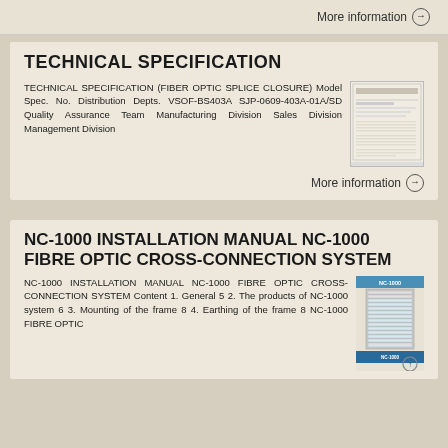More information →
TECHNICAL SPECIFICATION
TECHNICAL SPECIFICATION (FIBER OPTIC SPLICE CLOSURE) Model Spec. No. Distribution Depts. VSOF-BS403A SJP-0609-403A-01A/SD Quality Assurance Team Manufacturing Division Sales Division Management Division
[Figure (photo): Thumbnail image of a technical specification document page]
More information →
NC-1000 INSTALLATION MANUAL NC-1000 FIBRE OPTIC CROSS-CONNECTION SYSTEM
NC-1000 INSTALLATION MANUAL NC-1000 FIBRE OPTIC CROSS-CONNECTION SYSTEM Content 1. General 5 2. The products of NC-1000 system 6 3. Mounting of the frame 8 4. Earthing of the frame 8 NC-1000 FIBRE OPTIC
[Figure (photo): Thumbnail image of NC-1000 installation manual with a fibre optic cross-connection system rack]